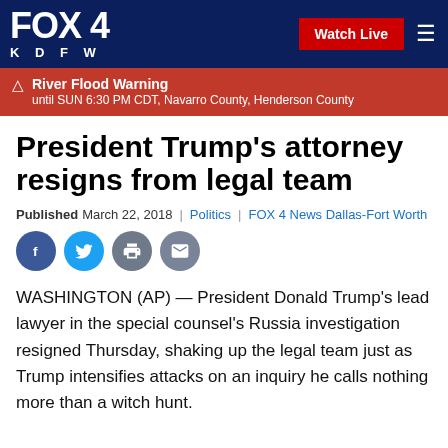FOX 4 KDFW | Watch Live
River Flood Warning until SUN 6:30 PM CDT, Navarro County, Henderson County
President Trump's attorney resigns from legal team
Published March 22, 2018 | Politics | FOX 4 News Dallas-Fort Worth
[Figure (infographic): Social sharing buttons: Facebook, Twitter, Print, Email]
WASHINGTON (AP) — President Donald Trump's lead lawyer in the special counsel's Russia investigation resigned Thursday, shaking up the legal team just as Trump intensifies attacks on an inquiry he calls nothing more than a witch hunt.